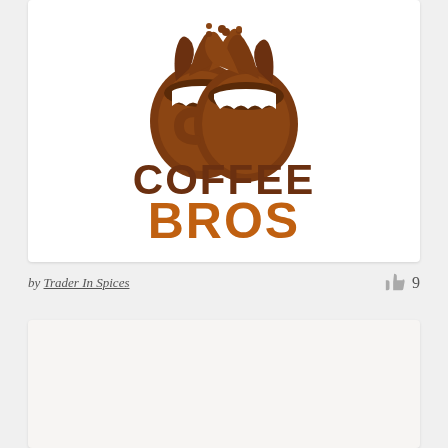[Figure (logo): Coffee Bros logo: two coffee mugs clinking together with liquid splashing, above the text COFFEE in dark brown bold caps and BROS in orange bold caps]
by Trader In Spices
[Figure (other): Partially visible card at bottom of page with light beige/gray background]